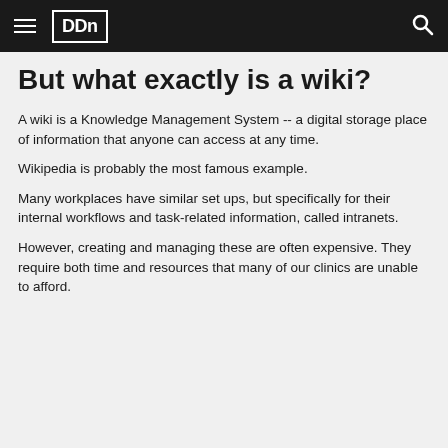DDn
But what exactly is a wiki?
A wiki is a Knowledge Management System -- a digital storage place of information that anyone can access at any time.
Wikipedia is probably the most famous example.
Many workplaces have similar set ups, but specifically for their internal workflows and task-related information, called intranets.
However, creating and managing these are often expensive. They require both time and resources that many of our clinics are unable to afford.